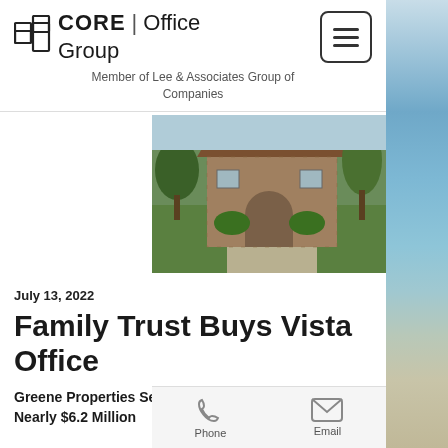[Figure (logo): CORE | Office Group logo with stylized building icon, text reads CORE | Office Group, Member of Lee & Associates Group of Companies]
[Figure (photo): Exterior photo of a commercial office building with arched entry, brick facade, lush green landscaping, trees, and a driveway leading to the entrance]
July 13, 2022
Family Trust Buys Vista Office
Greene Properties Sells Business Park Building for Nearly $6.2 Million
[Figure (other): Phone and Email contact buttons at the bottom of the page]